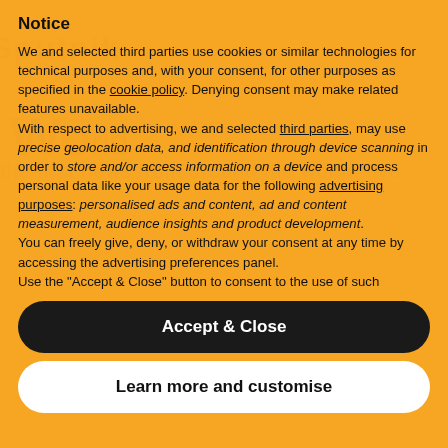[Figure (screenshot): Sputnik news website header and background with orange tinted news headlines visible behind a cookie consent overlay]
Notice
We and selected third parties use cookies or similar technologies for technical purposes and, with your consent, for other purposes as specified in the cookie policy. Denying consent may make related features unavailable.
With respect to advertising, we and selected third parties, may use precise geolocation data, and identification through device scanning in order to store and/or access information on a device and process personal data like your usage data for the following advertising purposes: personalised ads and content, ad and content measurement, audience insights and product development.
You can freely give, deny, or withdraw your consent at any time by accessing the advertising preferences panel.
Use the "Accept & Close" button to consent to the use of such
Accept & Close
Learn more and customise